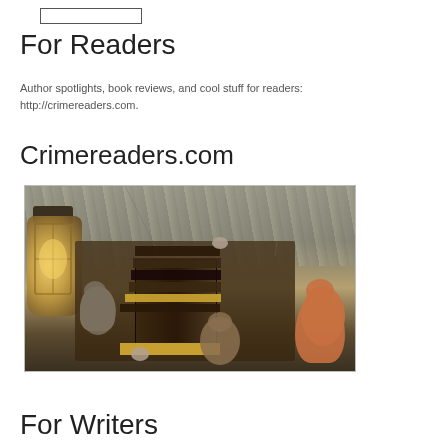[Figure (other): Small rectangular button or navigation element at top left]
For Readers
Author spotlights, book reviews, and cool stuff for readers: http://crimereaders.com.
Crimereaders.com
[Figure (photo): Photo of stacked old books with cats and a lantern against a stone wall background]
For Writers